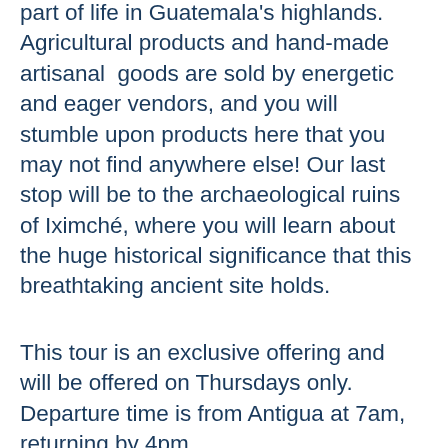part of life in Guatemala's highlands. Agricultural products and hand-made artisanal goods are sold by energetic and eager vendors, and you will stumble upon products here that you may not find anywhere else! Our last stop will be to the archaeological ruins of Iximché, where you will learn about the huge historical significance that this breathtaking ancient site holds.
This tour is an exclusive offering and will be offered on Thursdays only. Departure time is from Antigua at 7am, returning by 4pm.
[Figure (other): Book Now button with rounded rectangle border]
[Figure (photo): Dark reddish-brown blurred photo at bottom of page]